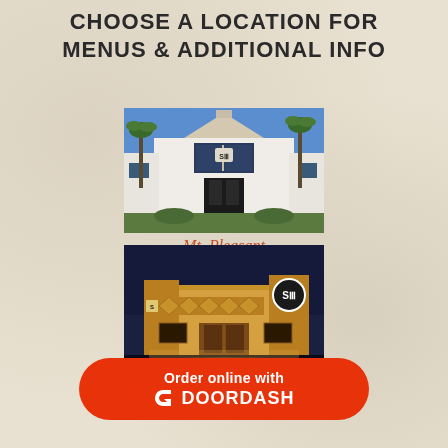CHOOSE A LOCATION FOR MENUS & ADDITIONAL INFO
[Figure (photo): Exterior photo of Mt. Pleasant restaurant location during daytime with palm trees and white building]
Mt. Pleasant
[Figure (photo): Exterior photo of Summerville restaurant location at night with illuminated signage]
Summerville
Order online with DOORDASH